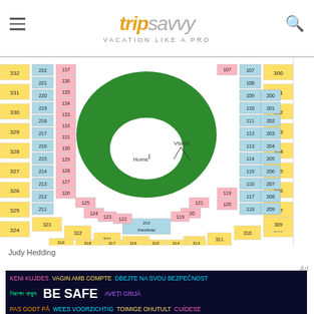tripsavvy VACATION LIKE A PRO
[Figure (other): Baseball stadium seating chart showing sections numbered 107-332 and 200-315, with color-coded zones: green field, white infield, pink lower deck, blue midfield sections, yellow upper deck/outfield sections. Labels include Home, Visitor, Handicap.]
Judy Hedding
Ad
[Figure (infographic): Dark blue safety advertisement banner with multilingual text: KENI KUJDES, VAGIN AMB COMPTE, DBEJTE NA SVOU BEZPECNOST, নিরাপদ থাকুন, BE SAFE, AVETI GRIJA, PAS GODT PA, WEES VOORZICHTIG, TOIMIGE OHUTULT, CUIDESE]